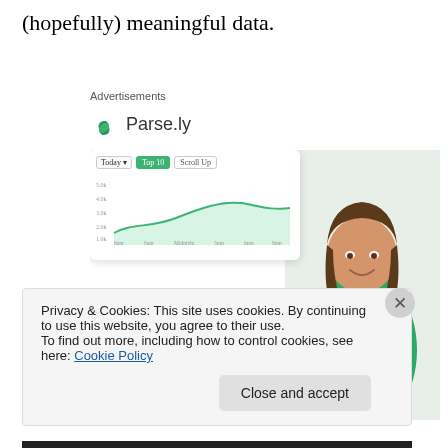(hopefully) meaningful data.
[Figure (screenshot): Parse.ly advertisement featuring logo, a dashboard chart screenshot, a smiling woman in green sweater, and the headline 'Content Analytics Made Easy']
Privacy & Cookies: This site uses cookies. By continuing to use this website, you agree to their use.
To find out more, including how to control cookies, see here: Cookie Policy
Close and accept